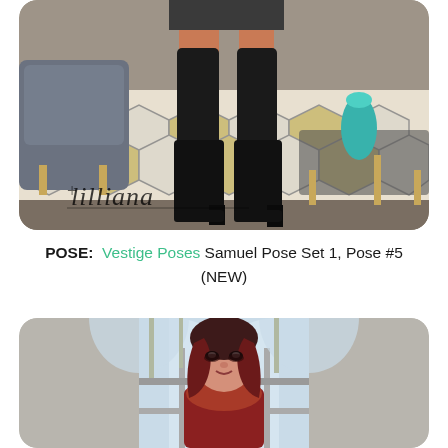[Figure (photo): Virtual avatar in a living room scene, close-up on legs wearing tall black boots, standing on a hexagonal-patterned rug. Gray armchair and a glass coffee table visible. Watermark text 'lilliana' in the lower left.]
POSE:  Vestige Poses Samuel Pose Set 1, Pose #5 (NEW)
[Figure (photo): Virtual avatar of a woman with dark red and black hair, heavy eye makeup, wearing a red fur-trimmed coat, standing in a modern interior space with arched windows and natural light.]